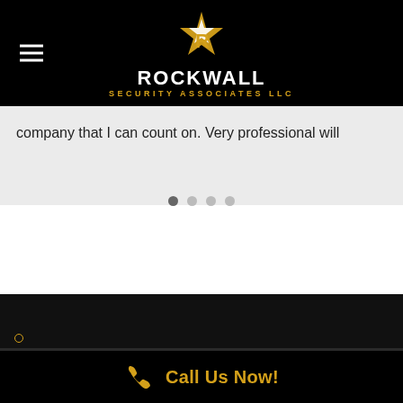[Figure (logo): Rockwall Security Associates LLC logo with star and R emblem in gold/white on black background]
company that I can count on. Very professional will
[Figure (infographic): Carousel navigation dots, four circles, first one darker (active)]
[Figure (photo): Dark section, footer area of website with small logo mark]
Call Us Now!